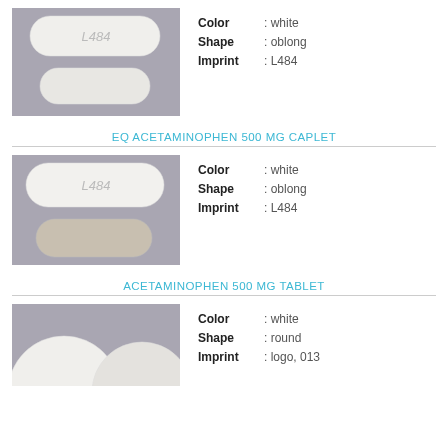[Figure (photo): Two white oblong caplets (L484 imprint on top one) on grey background]
Color : white
Shape : oblong
Imprint : L484
EQ ACETAMINOPHEN 500 MG CAPLET
[Figure (photo): Two white oblong caplets (L484 imprint on top one) on grey background]
Color : white
Shape : oblong
Imprint : L484
ACETAMINOPHEN 500 MG TABLET
[Figure (photo): Partial view of white round tablet on grey background]
Color : white
Shape : round
Imprint : logo, 013